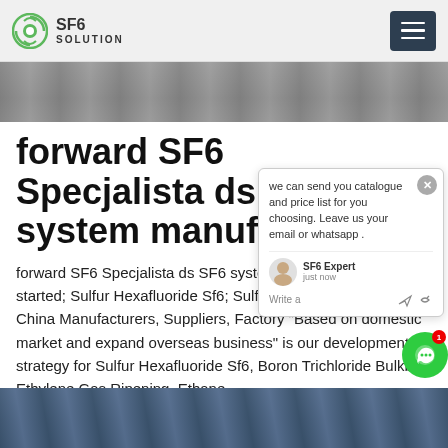SF6 SOLUTION
[Figure (photo): Top banner photo showing a gray interior/industrial surface]
forward SF6 Specjalista ds SF6 system manufacturers
forward SF6 Specjalista ds SF6 system manufacturersGetting started; Sulfur Hexafluoride Sf6; Sulfur Hexafluoride Sf6 - China Manufacturers, Suppliers, Factory "Based on domestic market and expand overseas business" is our development strategy for Sulfur Hexafluoride Sf6, Boron Trichloride Bulkbuy, Ethylene Gas Ripening, Ethane
[Figure (photo): Bottom banner photo showing electrical power infrastructure/towers with blue sky]